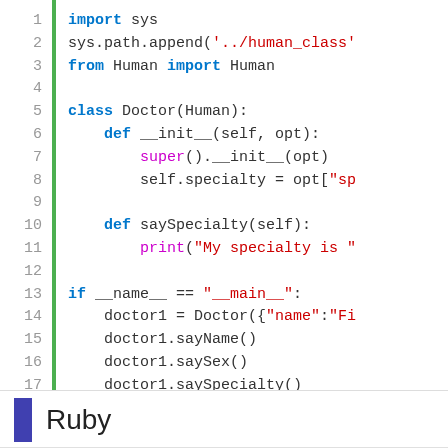[Figure (screenshot): Python code block with line numbers 1-17, green vertical bar, showing a Doctor class inheriting from Human with __init__ and saySpecialty methods, and a __main__ block]
Ruby
[Figure (screenshot): Ruby code block with line numbers starting at 1, green vertical bar, showing require_relative '../human_class']